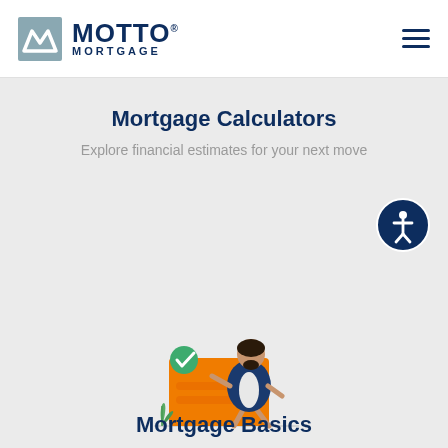MOTTO MORTGAGE
Mortgage Calculators
Explore financial estimates for your next move
[Figure (illustration): Illustration of a person walking beside a large orange envelope with a green checkmark, and a green plant/leaf at the bottom left]
Mortgage Basics